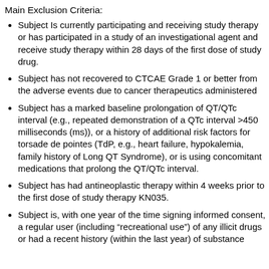Main Exclusion Criteria:
Subject Is currently participating and receiving study therapy or has participated in a study of an investigational agent and receive study therapy within 28 days of the first dose of study drug.
Subject has not recovered to CTCAE Grade 1 or better from the adverse events due to cancer therapeutics administered
Subject has a marked baseline prolongation of QT/QTc interval (e.g., repeated demonstration of a QTc interval >450 milliseconds (ms)), or a history of additional risk factors for torsade de pointes (TdP, e.g., heart failure, hypokalemia, family history of Long QT Syndrome), or is using concomitant medications that prolong the QT/QTc interval.
Subject has had antineoplastic therapy within 4 weeks prior to the first dose of study therapy KN035.
Subject is, with one year of the time signing informed consent, a regular user (including "recreational use") of any illicit drugs or had a recent history (within the last year) of substance